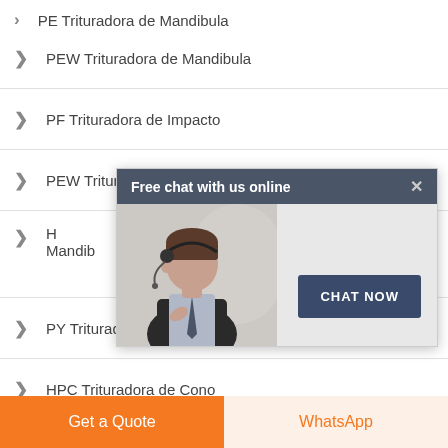PE Trituradora de Mandibula (partial, top cut off)
PEW Trituradora de Mandibula
PF Trituradora de Impacto
PEW Trituradora de Impacto (partially obscured by chat popup)
H... Mandib... (partially obscured by chat popup)
[Figure (screenshot): Chat popup overlay with header 'Free chat with us online', a photo of a customer service representative wearing a headset, and a dark blue 'CHAT NOW' button. Has a close (X) button in the header.]
PY Trituradora de Cono
HPC Trituradora de Cono
Get a Quote
WhatsApp